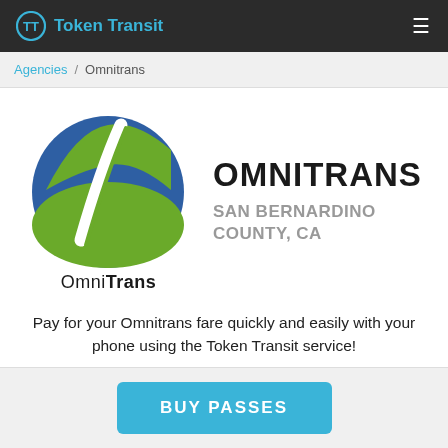Token Transit
Agencies / Omnitrans
[Figure (logo): OmniTrans logo: circular icon with blue top half and green stylized road/path on lower half, with 'OmniTrans' text below in bold black]
OMNITRANS SAN BERNARDINO COUNTY, CA
Pay for your Omnitrans fare quickly and easily with your phone using the Token Transit service!
BUY PASSES